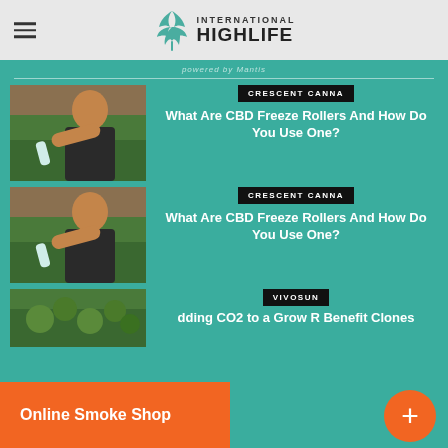International Highlife
powered by Mantis
[Figure (photo): Woman applying CBD freeze roller to arm, outdoor setting - article thumbnail 1]
CRESCENT CANNA
What Are CBD Freeze Rollers And How Do You Use One?
[Figure (photo): Woman applying CBD freeze roller to arm, outdoor setting - article thumbnail 2]
CRESCENT CANNA
What Are CBD Freeze Rollers And How Do You Use One?
[Figure (photo): Cannabis plant close-up - article thumbnail 3 (partial)]
VIVOSUN
dding CO2 to a Grow R Benefit Clones
Online Smoke Shop